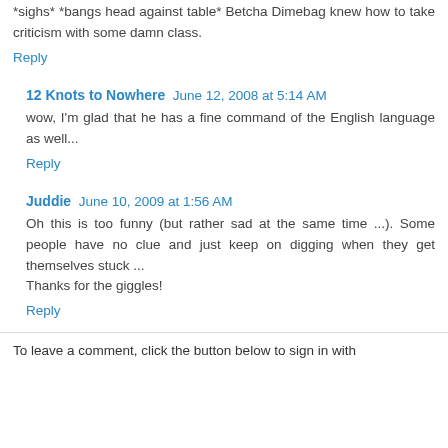*sighs* *bangs head against table* Betcha Dimebag knew how to take criticism with some damn class.
Reply
12 Knots to Nowhere  June 12, 2008 at 5:14 AM
wow, I'm glad that he has a fine command of the English language as well...
Reply
Juddie  June 10, 2009 at 1:56 AM
Oh this is too funny (but rather sad at the same time ...). Some people have no clue and just keep on digging when they get themselves stuck ...
Thanks for the giggles!
Reply
To leave a comment, click the button below to sign in with